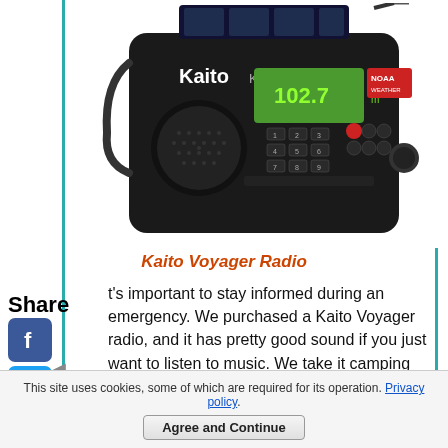[Figure (photo): Kaito KA700 Voyager emergency radio — black handheld radio with solar panel on top, green LCD display showing 102.7, speaker grille, numeric keypad, NOAA logo, and antenna.]
Kaito Voyager Radio
Share
[Figure (logo): Facebook social share icon (blue square with white F)]
[Figure (logo): Twitter social share icon (blue square with white bird)]
[Figure (logo): Pinterest social share icon (red square with white P)]
[Figure (logo): Facebook Messenger social share icon (blue circle with white lightning bolt)]
t's important to stay informed during an emergency. We purchased a Kaito Voyager radio, and it has pretty good sound if you just want to listen to music. We take it camping just for that reason. I leave it sitting on a
This site uses cookies, some of which are required for its operation. Privacy policy.
Agree and Continue